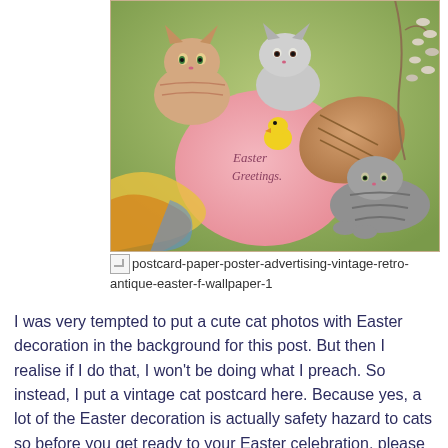[Figure (illustration): Vintage Easter postcard illustration showing three kittens with a large pink Easter egg inscribed 'Easter Greetings', a small yellow chick, pussy willow branches, and colorful ribbons/fabrics.]
postcard-paper-poster-advertising-vintage-retro-antique-easter-f-wallpaper-1
I was very tempted to put a cute cat photos with Easter decoration in the background for this post. But then I realise if I do that, I won't be doing what I preach. So instead, I put a vintage cat postcard here. Because yes, a lot of the Easter decoration is actually safety hazard to cats so before you get ready to your Easter celebration, please make sure of your cat is safe from these hazards in your house this weekend